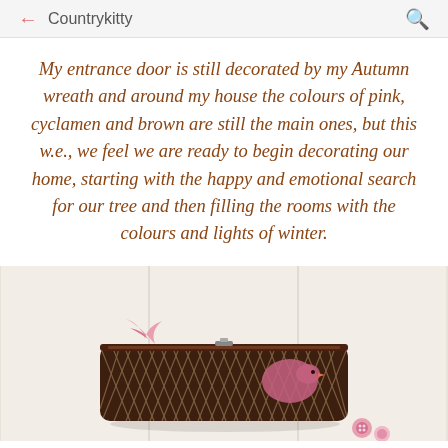← Countrykitty 🔍
My entrance door is still decorated by my Autumn wreath and around my house the colours of pink, cyclamen and brown are still the main ones, but this w.e., we feel we are ready to begin decorating our home, starting with the happy and emotional search for our tree and then filling the rooms with the colours and lights of winter.
[Figure (photo): A brown herringbone-patterned zippered pouch/clutch bag with a pink ribbon accent, photographed against a light cream/white paneled background. Pink buttons visible near the bottom right.]